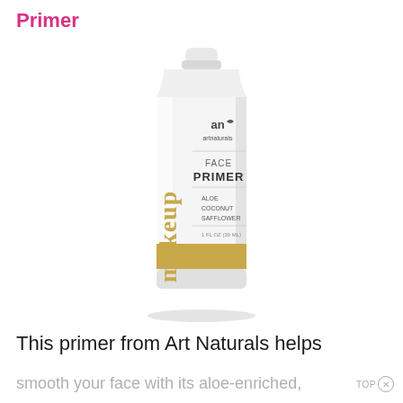Primer
[Figure (photo): Art Naturals Makeup Face Primer tube product photo. White squeeze tube with gold text reading 'makeup' vertically, 'FACE PRIMER' in the center, and 'ALOE COCONUT SAFFLOWER' listed below. Features an 'an artnaturals' logo at top. Gold band near the bottom of the tube. 1 FL OZ (30 ML).]
This primer from Art Naturals helps
smooth your face with its aloe-enriched,